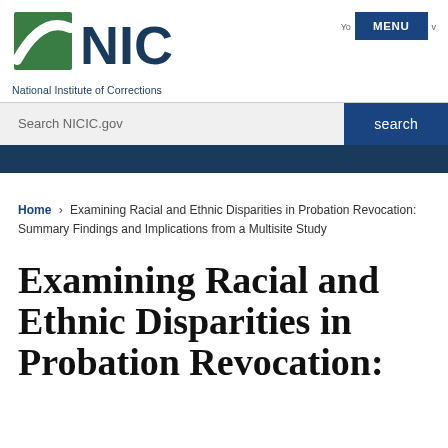[Figure (logo): NIC National Institute of Corrections logo with green and blue swoosh graphic and large NIC letters]
MENU
Search NICIC.gov
search
Home › Examining Racial and Ethnic Disparities in Probation Revocation: Summary Findings and Implications from a Multisite Study
Examining Racial and Ethnic Disparities in Probation Revocation: